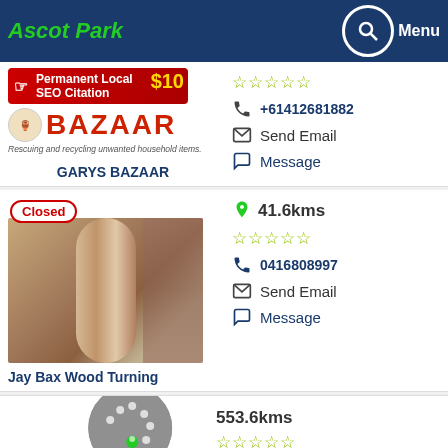Ascot Park
[Figure (screenshot): Gary's Bazaar business listing with ad banner, logo, phone number, Send Email and Message options]
GARYS BAZAAR
+61412681882
Send Email
Message
[Figure (photo): Wooden turned furniture post/baluster against brick wall with Closed badge]
Jay Bax Wood Turning
41.6kms
0416808997
Send Email
Message
553.6kms